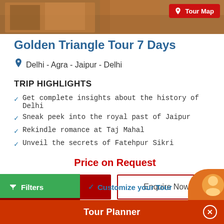[Figure (photo): Top banner image of a travel/market scene in India with a Tour Map button overlay]
Golden Triangle Tour 7 Days
Delhi - Agra - Jaipur - Delhi
TRIP HIGHLIGHTS
Get complete insights about the history of Delhi
Sneak peek into the royal past of Jaipur
Rekindle romance at Taj Mahal
Unveil the secrets of Fatehpur Sikri
Price on Request
View Tour
Enquire Now
Filters
Customize your Tour
Tour Planner